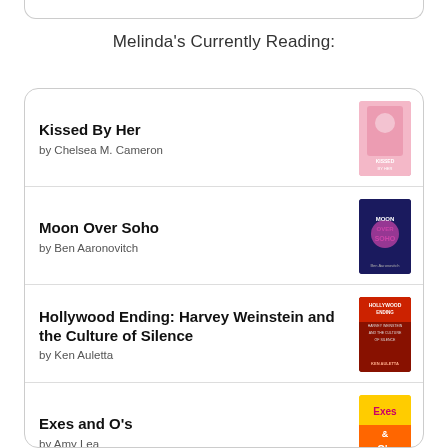Melinda's Currently Reading:
Kissed By Her by Chelsea M. Cameron
Moon Over Soho by Ben Aaronovitch
Hollywood Ending: Harvey Weinstein and the Culture of Silence by Ken Auletta
Exes and O's by Amy Lea
Messy